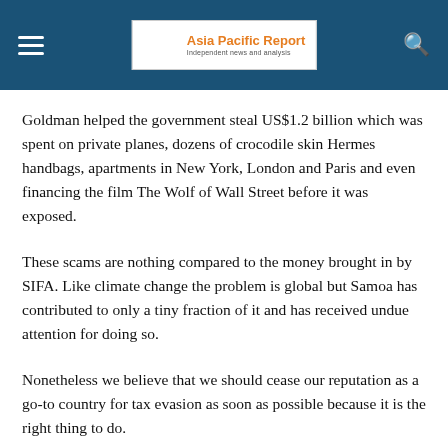Asia Pacific Report — Independent news and analysis
Goldman helped the government steal US$1.2 billion which was spent on private planes, dozens of crocodile skin Hermes handbags, apartments in New York, London and Paris and even financing the film The Wolf of Wall Street before it was exposed.
These scams are nothing compared to the money brought in by SIFA. Like climate change the problem is global but Samoa has contributed to only a tiny fraction of it and has received undue attention for doing so.
Nonetheless we believe that we should cease our reputation as a go-to country for tax evasion as soon as possible because it is the right thing to do.